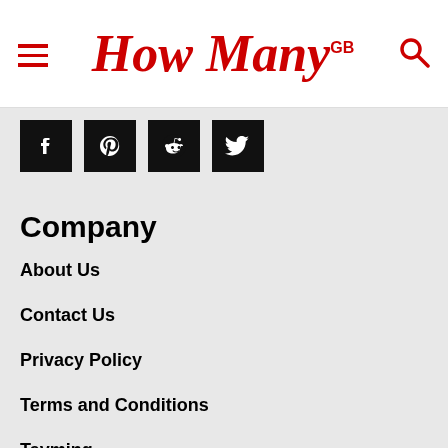How Many GB
[Figure (other): Social share buttons: Facebook, Pinterest, Reddit, Twitter]
Company
About Us
Contact Us
Privacy Policy
Terms and Conditions
Tayming
Kedi isimleri
Köpek isimleri
The latest